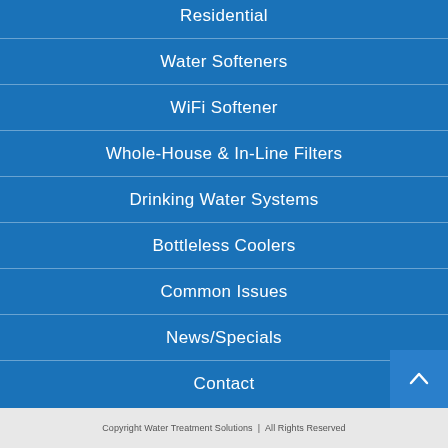Residential
Water Softeners
WiFi Softener
Whole-House & In-Line Filters
Drinking Water Systems
Bottleless Coolers
Common Issues
News/Specials
Contact
Copyright Water Treatment Solutions All Rights Reserved